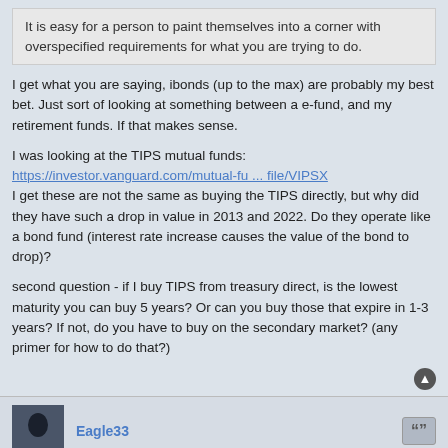It is easy for a person to paint themselves into a corner with overspecified requirements for what you are trying to do.
I get what you are saying, ibonds (up to the max) are probably my best bet. Just sort of looking at something between a e-fund, and my retirement funds. If that makes sense.
I was looking at the TIPS mutual funds:
https://investor.vanguard.com/mutual-fu ... file/VIPSX
I get these are not the same as buying the TIPS directly, but why did they have such a drop in value in 2013 and 2022. Do they operate like a bond fund (interest rate increase causes the value of the bond to drop)?
second question - if I buy TIPS from treasury direct, is the lowest maturity you can buy 5 years? Or can you buy those that expire in 1-3 years? If not, do you have to buy on the secondary market? (any primer for how to do that?)
Eagle33
Sun May 22, 2022 6:19 pm